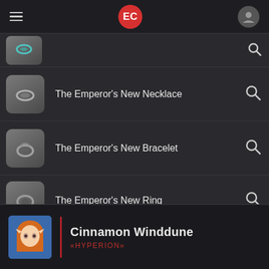EC [hamburger menu, EC badge, user icon]
The Emperor's New Necklace
The Emperor's New Bracelet
The Emperor's New Ring
The Emperor's New Ring
Cinnamon Winddune «HYPERION»